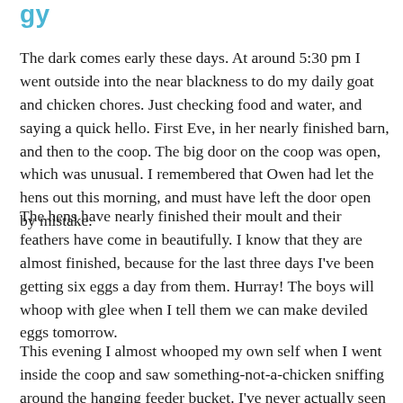gy
The dark comes early these days. At around 5:30 pm I went outside into the near blackness to do my daily goat and chicken chores. Just checking food and water, and saying a quick hello. First Eve, in her nearly finished barn, and then to the coop. The big door on the coop was open, which was unusual. I remembered that Owen had let the hens out this morning, and must have left the door open by mistake.
The hens have nearly finished their moult and their feathers have come in beautifully. I know that they are almost finished, because for the last three days I've been getting six eggs a day from them. Hurray! The boys will whoop with glee when I tell them we can make deviled eggs tomorrow.
This evening I almost whooped my own self when I went inside the coop and saw something-not-a-chicken sniffing around the hanging feeder bucket. I've never actually seen a living opossom up close. Usually I see them along the sides of the road, living and dead. This one was very much alive, and didn't really seem all that bothered when I appeared in